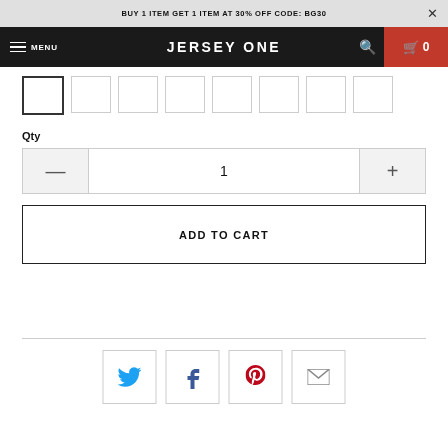BUY 1 ITEM GET 1 ITEM AT 30% OFF CODE: BG30
JERSEY ONE
[Figure (screenshot): Size swatch selector with 8 white square buttons, first one selected with darker border]
Qty
[Figure (other): Quantity selector with minus button, value 1, and plus button]
[Figure (other): ADD TO CART button with black border]
[Figure (other): Social share buttons: Twitter, Facebook, Pinterest, Email]